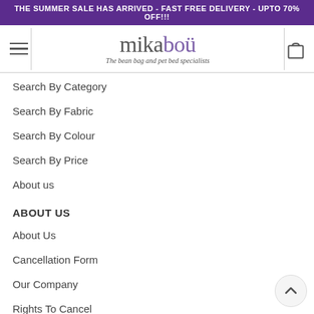THE SUMMER SALE HAS ARRIVED - FAST FREE DELIVERY - UPTO 70% OFF!!!
[Figure (logo): Mikabou logo with hamburger menu and cart icon. Logo reads 'mikabou - The bean bag and pet bed specialists']
Search By Category
Search By Fabric
Search By Colour
Search By Price
About us
ABOUT US
About Us
Cancellation Form
Our Company
Rights To Cancel
Terms & Conditions
Privacy Policy (incl. cookie policy)